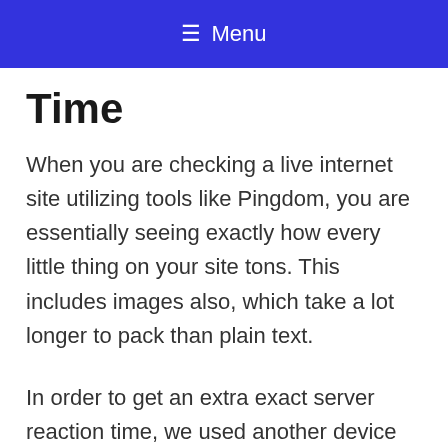≡ Menu
Time
When you are checking a live internet site utilizing tools like Pingdom, you are essentially seeing exactly how every little thing on your site tons. This includes images also, which take a lot longer to pack than plain text.
In order to get an extra exact server reaction time, we used another device